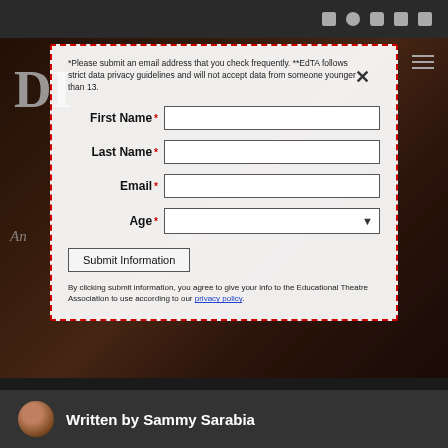Navigation bar with social icons (Facebook, Twitter, Instagram, Snapchat, YouTube)
[Figure (screenshot): Website screenshot showing a modal dialog over a theater background image with performers. Bottom shows author attribution.]
*Please submit an email address that you check frequently. **EdTA follows strict data privacy guidelines and will not accept data from someone younger than 13.
First Name *
Last Name *
Email *
Age *
Submit Information
By clicking submit information, you agree to give your info to the Educational Theatre Association to use according to our privacy policy.
Written by Sammy Sarabia